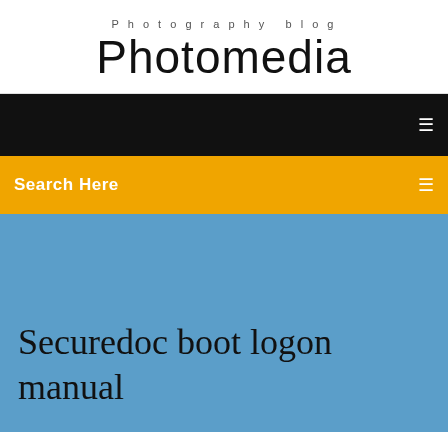Photography blog
Photomedia
Search Here
Securedoc boot logon manual